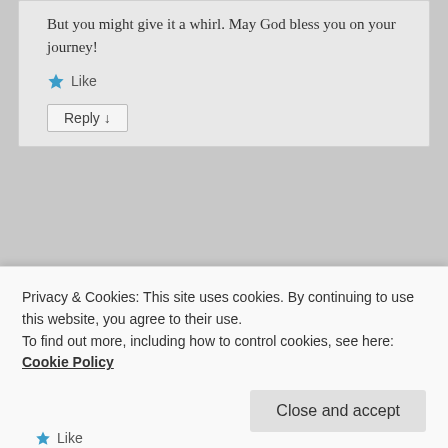But you might give it a whirl. May God bless you on your journey!
Like
Reply ↓
Pingback: Histamina i dieta niskohistaminowa – Zdrowie Paleo
[Figure (photo): User avatar placeholder (gray square)]
Privacy & Cookies: This site uses cookies. By continuing to use this website, you agree to their use.
To find out more, including how to control cookies, see here: Cookie Policy
Close and accept
Like